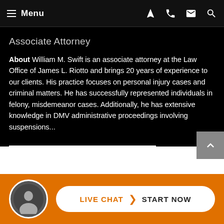Menu
Associate Attorney
About William M. Swift is an associate attorney at the Law Office of James L. Riotto and brings 20 years of experience to our clients. His practice focuses on personal injury cases and criminal matters. He has successfully represented individuals in felony, misdemeanor cases. Additionally, he has extensive knowledge in DMV administrative proceedings involving suspensions...
VIEW FULL BIO
LIVE CHAT START NOW